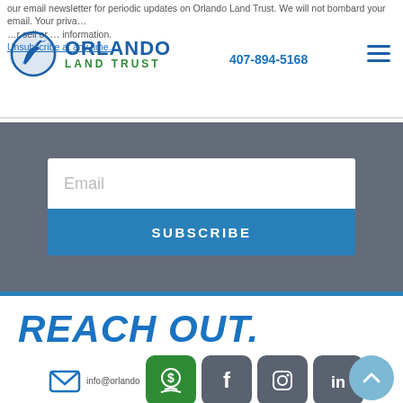our email newsletter for periodic updates on Orlando Land Trust. We will not bombard your email. Your privacy is important to us. We will never sell or share your information. Unsubscribe at any time.
[Figure (logo): Orlando Land Trust logo with heron bird icon, blue ORLANDO text, green LAND TRUST text]
407-894-5168
[Figure (infographic): Email subscription form with Email input field and SUBSCRIBE button on dark gray background]
REACH OUT.
[Figure (infographic): Social media icons row: email icon, donate icon (green), Facebook (gray), Instagram (gray), LinkedIn (gray). Email address info@orlandolandtrust.org visible. Back to top button (light blue circle with chevron).]